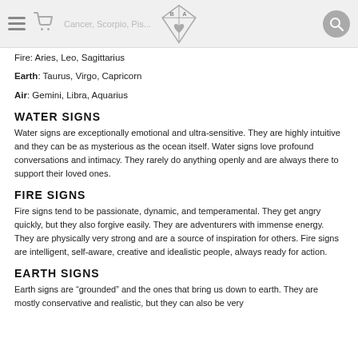Cancer, Scorpio, Pisces — navigation header with logo
Fire: Aries, Leo, Sagittarius
Earth: Taurus, Virgo, Capricorn
Air: Gemini, Libra, Aquarius
WATER SIGNS
Water signs are exceptionally emotional and ultra-sensitive. They are highly intuitive and they can be as mysterious as the ocean itself. Water signs love profound conversations and intimacy. They rarely do anything openly and are always there to support their loved ones.
FIRE SIGNS
Fire signs tend to be passionate, dynamic, and temperamental. They get angry quickly, but they also forgive easily. They are adventurers with immense energy. They are physically very strong and are a source of inspiration for others. Fire signs are intelligent, self-aware, creative and idealistic people, always ready for action.
EARTH SIGNS
Earth signs are “grounded” and the ones that bring us down to earth. They are mostly conservative and realistic, but they can also be very